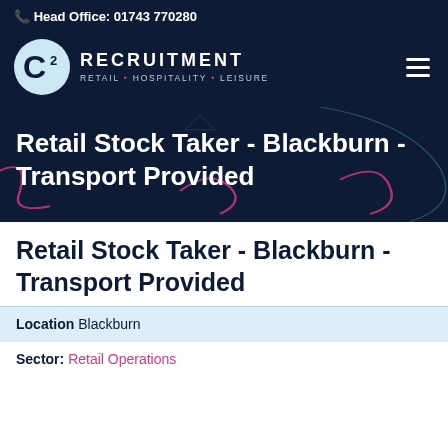Head Office: 01743 770280
[Figure (logo): C2 Recruitment logo – circular C2 emblem with RECRUITMENT text and tagline RETAIL • HOSPITALITY • LEISURE]
Retail Stock Taker - Blackburn - Transport Provided
Retail Stock Taker - Blackburn - Transport Provided
Location Blackburn
Sector: Retail Operations